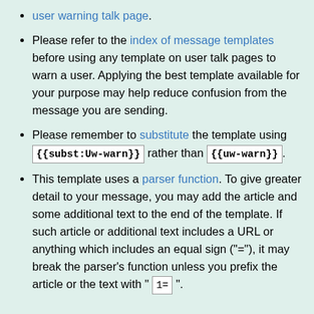user warning talk page.
Please refer to the index of message templates before using any template on user talk pages to warn a user. Applying the best template available for your purpose may help reduce confusion from the message you are sending.
Please remember to substitute the template using {{subst:Uw-warn}} rather than {{uw-warn}}.
This template uses a parser function. To give greater detail to your message, you may add the article and some additional text to the end of the template. If such article or additional text includes a URL or anything which includes an equal sign ("="), it may break the parser's function unless you prefix the article or the text with " 1= ".